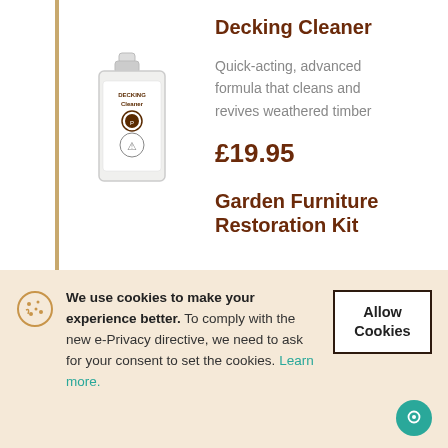Decking Cleaner
[Figure (photo): White 5-litre container of Decking Cleaner product]
Quick-acting, advanced formula that cleans and revives weathered timber
£19.95
Garden Furniture Restoration Kit
We use cookies to make your experience better. To comply with the new e-Privacy directive, we need to ask for your consent to set the cookies. Learn more.